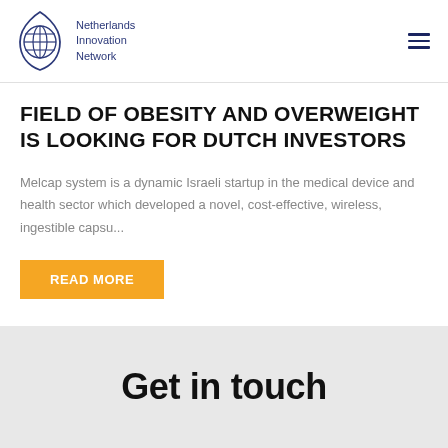Netherlands Innovation Network
FIELD OF OBESITY AND OVERWEIGHT IS LOOKING FOR DUTCH INVESTORS
Melcap system is a dynamic Israeli startup in the medical device and health sector which developed a novel, cost-effective, wireless, ingestible capsu...
READ MORE
Get in touch